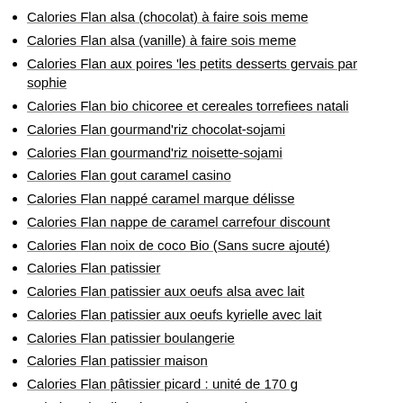(partial top item — text cut off)
Calories Flan alsa (chocolat) à faire sois meme
Calories Flan alsa (vanille) à faire sois meme
Calories Flan aux poires 'les petits desserts gervais par sophie
Calories Flan bio chicoree et cereales torrefiees natali
Calories Flan gourmand'riz chocolat-sojami
Calories Flan gourmand'riz noisette-sojami
Calories Flan gout caramel casino
Calories Flan nappé caramel marque délisse
Calories Flan nappe de caramel carrefour discount
Calories Flan noix de coco Bio (Sans sucre ajouté)
Calories Flan patissier
Calories Flan patissier aux oeufs alsa avec lait
Calories Flan patissier aux oeufs kyrielle avec lait
Calories Flan patissier boulangerie
Calories Flan patissier maison
Calories Flan pâtissier picard : unité de 170 g
Calories Flandise danone (pot=102g)
Calories Flans etremets dr 0etker parfum café
Calories Flans goût vanille-flanby
Calories Flûtes framboises ( Casino )
Calories Folie's danone (pot=115g)
Calories Fondant (gâteau) au chocolat 70% cacao (berte)